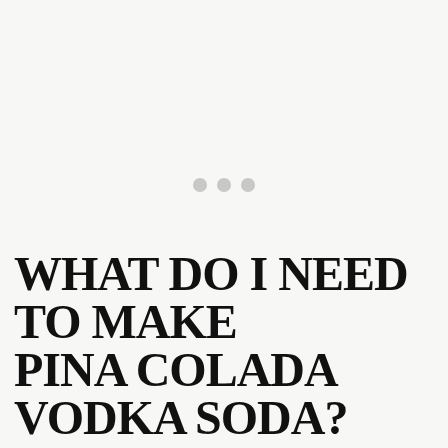[Figure (other): Loading placeholder area with three gray dots in the center on a light gray/off-white background]
[Figure (infographic): Orange circular FAB button with heart icon, count '1.6K' below it, and white circular share button with share icon]
[Figure (other): What's Next bar showing a circular thumbnail image of Pina Colada Sangria drink, with orange label 'WHAT'S NEXT →' and text 'Pina Colada Sangria']
WHAT DO I NEED TO MAKE PINA COLADA VODKA SODA?